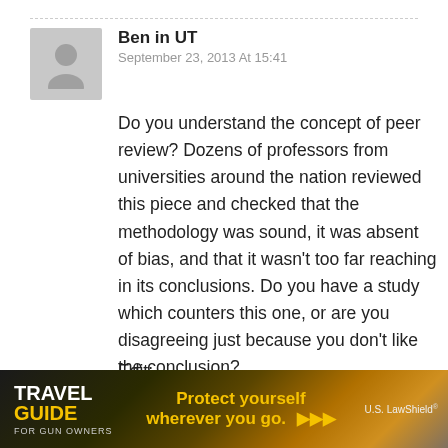Ben in UT
September 23, 2013 At 15:41
Do you understand the concept of peer review? Dozens of professors from universities around the nation reviewed this piece and checked that the methodology was sound, it was absent of bias, and that it wasn't too far reaching in its conclusions. Do you have a study which counters this one, or are you disagreeing just because you don't like the conclusion?
Edit:
Sorry, this post came across with a bit of vitriol,
[Figure (infographic): Advertisement banner for Travel Guide for Gun Owners featuring text 'Protect yourself wherever you go.' with US LawShield logo and orange arrows]